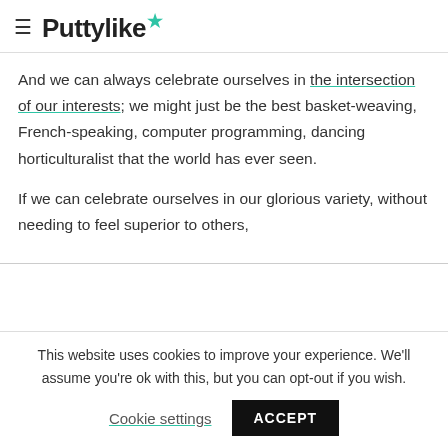≡ Puttylike★
And we can always celebrate ourselves in the intersection of our interests; we might just be the best basket-weaving, French-speaking, computer programming, dancing horticulturalist that the world has ever seen.
If we can celebrate ourselves in our glorious variety, without needing to feel superior to others,
This website uses cookies to improve your experience. We'll assume you're ok with this, but you can opt-out if you wish.
Cookie settings   ACCEPT